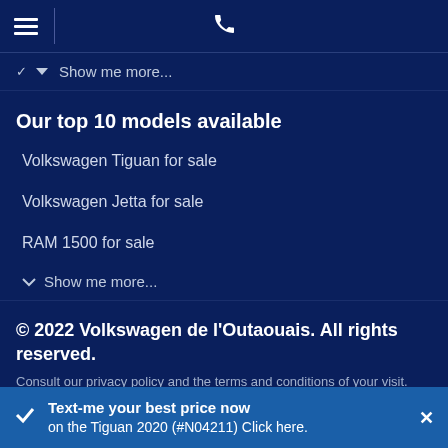Navigation bar with hamburger menu and phone icon
Show me more...
Our top 10 models available
Volkswagen Tiguan for sale
Volkswagen Jetta for sale
RAM 1500 for sale
Show me more...
© 2022 Volkswagen de l'Outaouais. All rights reserved.
Consult our privacy policy and the terms and conditions of your visit.
Modify your communications preferences.
Visitez le site en Français
Dealer Website and Dealer CRM by D2C Media.
Text-me your best price now on the Tiguan 2020 (#N04211) Click here.